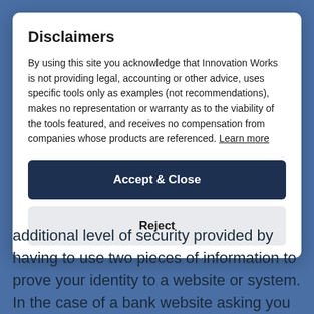Disclaimers
By using this site you acknowledge that Innovation Works is not providing legal, accounting or other advice, uses specific tools only as examples (not recommendations), makes no representation or warranty as to the viability of the tools featured, and receives no compensation from companies whose products are referenced. Learn more
Accept & Close
Reject
additional level of security provided by having to use two pieces of information to prove your identity to a website or system. In the case of a bank website asking you for a code they sent through a text message, your two pieces of information are: